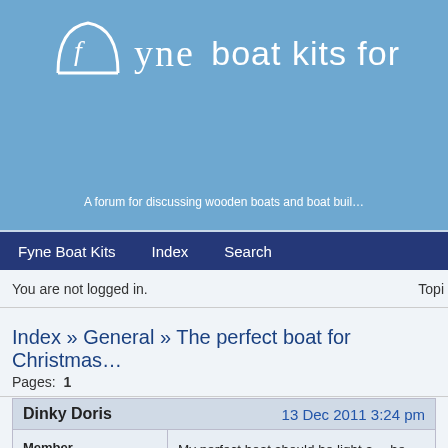fyne boat kits for
A forum for discussing wooden boats and boat buil…
Fyne Boat Kits   Index   Search
You are not logged in.   Topi…
Index » General » The perfect boat for Christmas…
Pages:  1
Dinky Doris   13 Dec 2011 3:24 pm
Member
From: Wales
Registered: 25 Aug 2011
Posts: 23
My perfect boat should be light and be car toppable and capable of one person not in the first flush wide enough to accommodate f… room for a picnic hamper. It nee… light breeze but not be knocked… winds. It needs to be equally at… and on the sea.